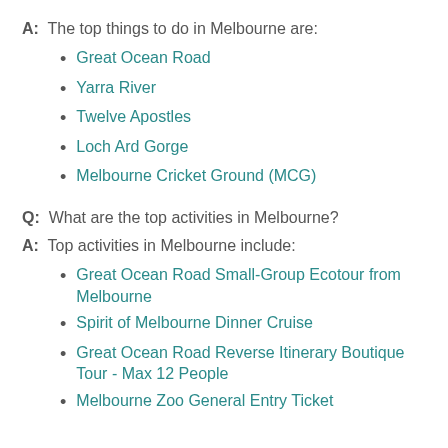A:  The top things to do in Melbourne are:
Great Ocean Road
Yarra River
Twelve Apostles
Loch Ard Gorge
Melbourne Cricket Ground (MCG)
Q:  What are the top activities in Melbourne?
A:  Top activities in Melbourne include:
Great Ocean Road Small-Group Ecotour from Melbourne
Spirit of Melbourne Dinner Cruise
Great Ocean Road Reverse Itinerary Boutique Tour - Max 12 People
Melbourne Zoo General Entry Ticket